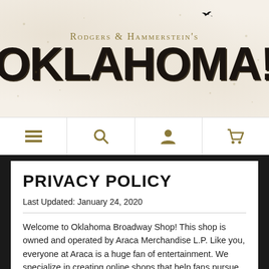Rodgers & Hammerstein's OKLAHOMA!
[Figure (screenshot): Navigation bar with menu, search, account, and cart icons in gold/tan color]
PRIVACY POLICY
Last Updated: January 24, 2020
Welcome to Oklahoma Broadway Shop! This shop is owned and operated by Araca Merchandise L.P. Like you, everyone at Araca is a huge fan of entertainment. We specialize in creating online shops that help fans pursue their passion for collecting. The shop for acquisition and l...